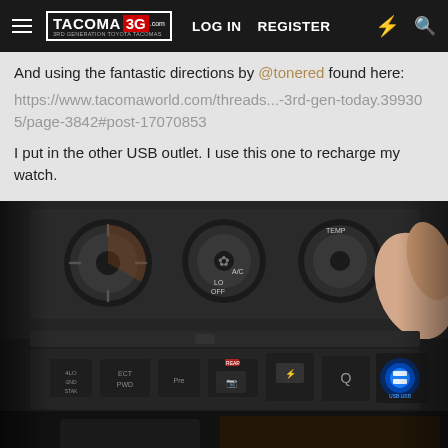TACOMA 3G | LOG IN | REGISTER
And using the fantastic directions by @tonered found here:
https://www.tacomaworld.com/threads...-3rd-gen-today.399305/page-3842#post-17070853
I put in the other USB outlet. I use this one to recharge my watch.
[Figure (photo): Photo of a Toyota Tacoma center console showing HVAC controls (fan speed, A/C, temperature knobs) and lower panel with ECT PWD, Pre, and other buttons, plus a glowing blue USB outlet being inserted by a hand]